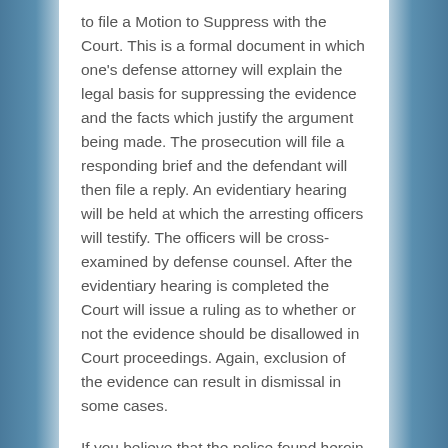to file a Motion to Suppress with the Court. This is a formal document in which one's defense attorney will explain the legal basis for suppressing the evidence and the facts which justify the argument being made. The prosecution will file a responding brief and the defendant will then file a reply. An evidentiary hearing will be held at which the arresting officers will testify. The officers will be cross-examined by defense counsel. After the evidentiary hearing is completed the Court will issue a ruling as to whether or not the evidence should be disallowed in Court proceedings. Again, exclusion of the evidence can result in dismissal in some cases.
If you believe that the police found heroin as a